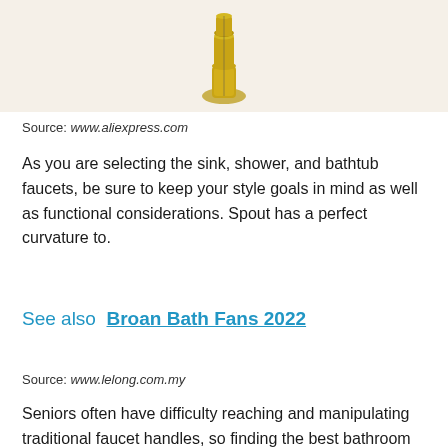[Figure (photo): A gold/brass bathroom faucet on a beige background]
Source: www.aliexpress.com
As you are selecting the sink, shower, and bathtub faucets, be sure to keep your style goals in mind as well as functional considerations. Spout has a perfect curvature to.
See also  Broan Bath Fans 2022
Source: www.lelong.com.my
Seniors often have difficulty reaching and manipulating traditional faucet handles, so finding the best bathroom faucets for seniors is essential. While bathroom faucets come in a variety of finishes, always focus on still the next one.